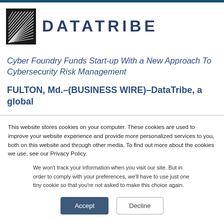[Figure (logo): DataTribe logo: stylized graphic with diagonal lines on dark background next to DATATRIBE text in dark blue uppercase letters]
Cyber Foundry Funds Start-up With a New Approach To Cybersecurity Risk Management
FULTON, Md.–(BUSINESS WIRE)–DataTribe, a global
This website stores cookies on your computer. These cookies are used to improve your website experience and provide more personalized services to you, both on this website and through other media. To find out more about the cookies we use, see our Privacy Policy.
We won't track your information when you visit our site. But in order to comply with your preferences, we'll have to use just one tiny cookie so that you're not asked to make this choice again.